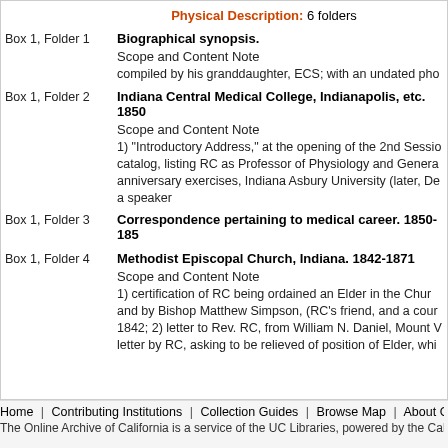Physical Description: 6 folders
Box 1, Folder 1
Biographical synopsis.
Scope and Content Note
compiled by his granddaughter, ECS; with an undated pho
Box 1, Folder 2
Indiana Central Medical College, Indianapolis, etc. 1850
Scope and Content Note
1) "Introductory Address," at the opening of the 2nd Sessio catalog, listing RC as Professor of Physiology and Genera anniversary exercises, Indiana Asbury University (later, De a speaker
Box 1, Folder 3
Correspondence pertaining to medical career. 1850-185
Box 1, Folder 4
Methodist Episcopal Church, Indiana. 1842-1871
Scope and Content Note
1) certification of RC being ordained an Elder in the Chur and by Bishop Matthew Simpson, (RC's friend, and a cour 1842; 2) letter to Rev. RC, from William N. Daniel, Mount V letter by RC, asking to be relieved of position of Elder, whi
Home | Contributing Institutions | Collection Guides | Browse Map | About OAC | The Online Archive of California is a service of the UC Libraries, powered by the California D